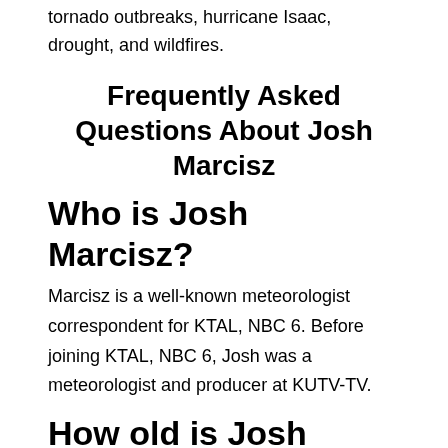tornado outbreaks, hurricane Isaac, drought, and wildfires.
Frequently Asked Questions About Josh Marcisz
Who is Josh Marcisz?
Marcisz is a well-known meteorologist correspondent for KTAL, NBC 6. Before joining KTAL, NBC 6, Josh was a meteorologist and producer at KUTV-TV.
How old is Josh Marcisz?